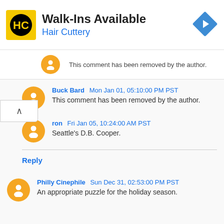[Figure (logo): Hair Cuttery advertisement banner with HC logo, text 'Walk-Ins Available' and 'Hair Cuttery', and a blue navigation arrow icon]
This comment has been removed by the author.
Buck Bard  Mon Jan 01, 05:10:00 PM PST
This comment has been removed by the author.
ron  Fri Jan 05, 10:24:00 AM PST
Seattle's D.B. Cooper.
Reply
Philly Cinephile  Sun Dec 31, 02:53:00 PM PST
An appropriate puzzle for the holiday season.